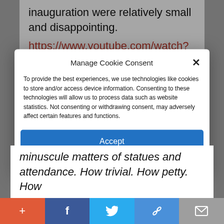inauguration were relatively small and disappointing.
https://www.youtube.com/watch?
Manage Cookie Consent
To provide the best experiences, we use technologies like cookies to store and/or access device information. Consenting to these technologies will allow us to process data such as website statistics. Not consenting or withdrawing consent, may adversely affect certain features and functions.
Accept
Cookie Policy   Privacy Policy
minuscule matters of statues and attendance. How trivial. How petty. How